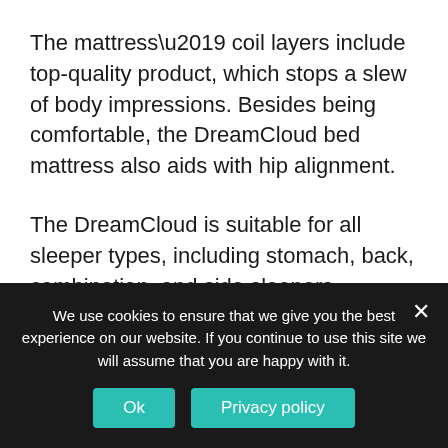The mattress’ coil layers include top-quality product, which stops a slew of body impressions. Besides being comfortable, the DreamCloud bed mattress also aids with hip alignment.
The DreamCloud is suitable for all sleeper types, including stomach, back, combination, and side sleepers. Nevertheless, some back sleepers favor a rather firmer model.
This 14-inch mattress has five layers
We use cookies to ensure that we give you the best experience on our website. If you continue to use this site we will assume that you are happy with it.